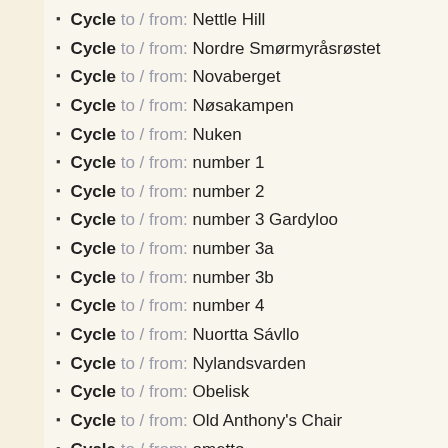Cycle to / from: Nettle Hill
Cycle to / from: Nordre Smørmyråsrøstet
Cycle to / from: Novaberget
Cycle to / from: Nøsakampen
Cycle to / from: Nuken
Cycle to / from: number 1
Cycle to / from: number 2
Cycle to / from: number 3 Gardyloo
Cycle to / from: number 3a
Cycle to / from: number 3b
Cycle to / from: number 4
Cycle to / from: Nuortta Sávllo
Cycle to / from: Nylandsvarden
Cycle to / from: Obelisk
Cycle to / from: Old Anthony's Chair
Cycle to / from: ometto
Cycle to / from: Ometto di pietra
Cycle to / from: Ovnen
Cycle to / from: Owners's Cairn
Cycle to / from: Øst for Ringsrudåsen
Cycle to / from: Østentorøysa